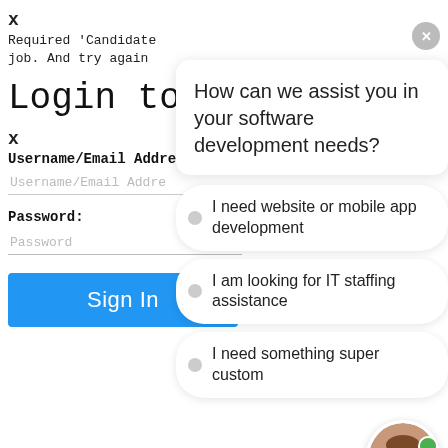x
Required 'Candidate job. And try again
Login to yo
x
Username/Email Addre
Username/Email Addre
Password:
Password
Sign In
[Figure (screenshot): Chat widget overlay with question 'How can we assist you in your software development needs?' and three options: 'I need website or mobile app development', 'I am looking for IT staffing assistance', 'I need something super custom'. Has a close button (x) and an avatar photo of a woman with a green online dot.]